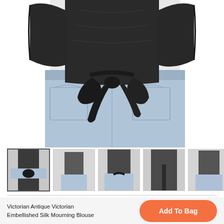[Figure (photo): Back view of a person wearing a black antique Victorian embellished silk mourning blouse tied with a sash/ribbon at the waist, paired with light blue denim jeans.]
[Figure (photo): Row of 6 thumbnail images showing various views of a black Victorian silk blouse on a model.]
Victorian Antique Victorian Embellished Silk Mourning Blouse
Add To Bag